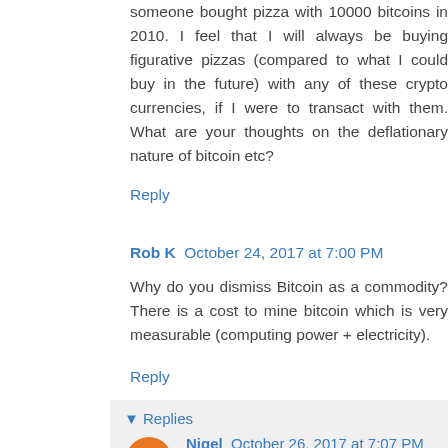someone bought pizza with 10000 bitcoins in 2010. I feel that I will always be buying figurative pizzas (compared to what I could buy in the future) with any of these crypto currencies, if I were to transact with them. What are your thoughts on the deflationary nature of bitcoin etc?
Reply
Rob K   October 24, 2017 at 7:00 PM
Why do you dismiss Bitcoin as a commodity? There is a cost to mine bitcoin which is very measurable (computing power + electricity).
Reply
Replies
Nigel   October 26, 2017 at 7:07 PM
I quote "A commodity derives its value from its use as raw material to meet a fundamental need."